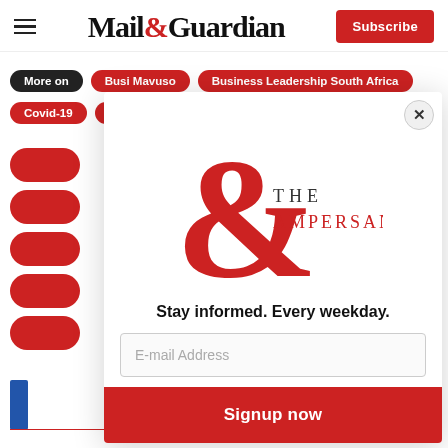Mail & Guardian — Subscribe
More on | Busi Mavuso | Business Leadership South Africa
Covid-19 | Cyril Ramaphosa | Economic Growth
[Figure (logo): The Ampersand newsletter logo — large red ampersand symbol with 'THE AMPERSAND' text]
Stay informed. Every weekday.
E-mail Address
Signup now